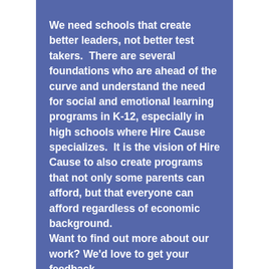We need schools that create better leaders, not better test takers.  There are several foundations who are ahead of the curve and understand the need for social and emotional learning programs in K-12, especially in high schools where Hire Cause specializes.  It is the vision of Hire Cause to also create programs that not only some parents can afford, but that everyone can afford regardless of economic background. Want to find out more about our work? We'd love to get your feedback.